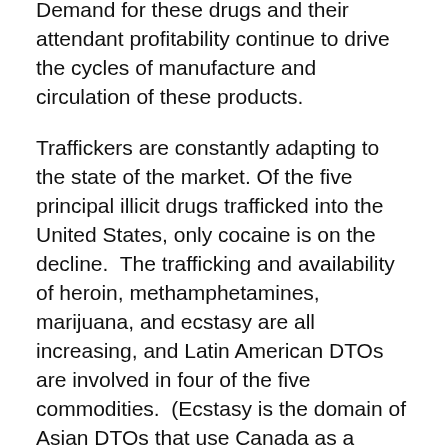Demand for these drugs and their attendant profitability continue to drive the cycles of manufacture and circulation of these products.
Traffickers are constantly adapting to the state of the market. Of the five principal illicit drugs trafficked into the United States, only cocaine is on the decline.  The trafficking and availability of heroin, methamphetamines, marijuana, and ecstasy are all increasing, and Latin American DTOs are involved in four of the five commodities.  (Ecstasy is the domain of Asian DTOs that use Canada as a gateway into the United States.)
Colombian DTOs are increasingly identifying new markets for cocaine.  Europe is an